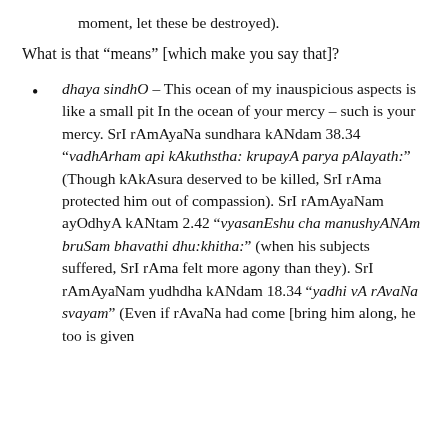moment, let these be destroyed).
What is that “means” [which make you say that]?
dhaya sindhO – This ocean of my inauspicious aspects is like a small pit In the ocean of your mercy – such is your mercy. SrI rAmAyaNa sundhara kANdam 38.34 “vadhArham api kAkuthstha: krupayA parya pAlayath:” (Though kAkAsura deserved to be killed, SrI rAma protected him out of compassion). SrI rAmAyaNam ayOdhyA kANtam 2.42 “vyasanEshu cha manushyANAm bruSam bhavathi dhu:khitha:” (when his subjects suffered, SrI rAma felt more agony than they). SrI rAmAyaNam yudhdha kANdam 18.34 “yadhi vA rAvaNa svayam” (Even if rAvaNa had come [bring him along, he too is given refuge]). SrI rAmAyaNam yudhdha kANdam...